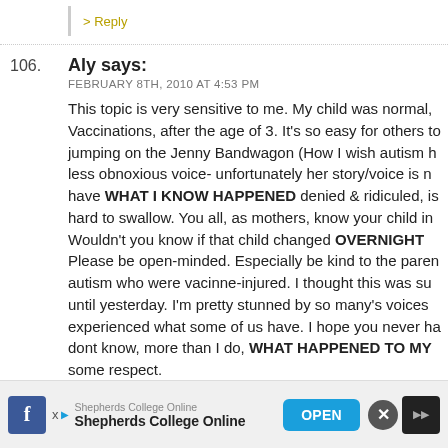> Reply
106. Aly says: FEBRUARY 8TH, 2010 AT 4:53 PM
This topic is very sensitive to me. My child was normal, Vaccinations, after the age of 3. It's so easy for others to jumping on the Jenny Bandwagon (How I wish autism h less obnoxious voice- unfortunately her story/voice is n have WHAT I KNOW HAPPENED denied & ridiculed, is hard to swallow. You all, as mothers, know your child in Wouldn't you know if that child changed OVERNIGHT Please be open-minded. Especially be kind to the paren autism who were vacinne-injured. I thought this was su until yesterday. I'm pretty stunned by so many's voices experienced what some of us have. I hope you never ha dont know, more than I do, WHAT HAPPENED TO MY some respect.
Shepherds College Online Shepherds College Online OPEN